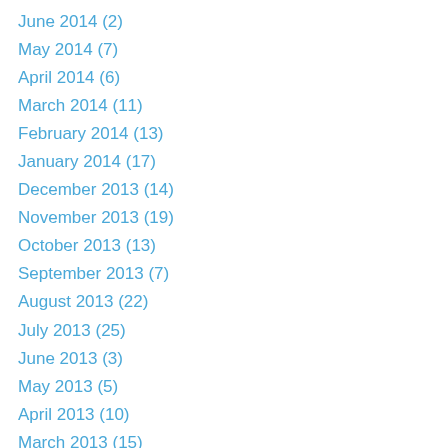June 2014 (2)
May 2014 (7)
April 2014 (6)
March 2014 (11)
February 2014 (13)
January 2014 (17)
December 2013 (14)
November 2013 (19)
October 2013 (13)
September 2013 (7)
August 2013 (22)
July 2013 (25)
June 2013 (3)
May 2013 (5)
April 2013 (10)
March 2013 (15)
February 2013 (22)
January 2013 (12)
October 2012 (1)
August 2012 (4)